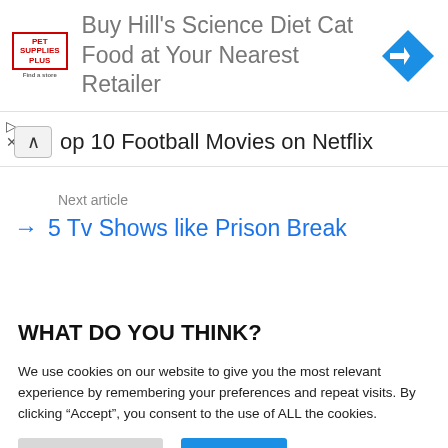[Figure (infographic): Pet Supplies Plus advertisement banner: 'Buy Hill's Science Diet Cat Food at Your Nearest Retailer' with a blue diamond arrow icon]
op 10 Football Movies on Netflix
Next article
5 Tv Shows like Prison Break
WHAT DO YOU THINK?
We use cookies on our website to give you the most relevant experience by remembering your preferences and repeat visits. By clicking “Accept”, you consent to the use of ALL the cookies.
Cookie Settings  Accept